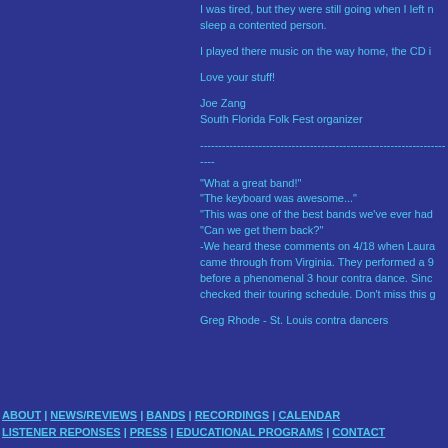I was tired, but they were still going when I left n sleep a contented person.
I played there music on the way home, the CD i
Love your stuff!
Joe Zang
South Florida Folk Fest organizer
--------------------------------------------------------------------------------
"What a great band!"
"The keyboard was awesome..."
"This was one of the best bands we've ever had"
"Can we get them back?"
-We heard these comments on 4/18 when Laura came through from Virginia. They performed a 9 before a phenomenal 3 hour contra dance. Sinc checked their touring schedule. Don't miss this g
Greg Rhode - St. Louis contra dancers
ABOUT | NEWS/REVIEWS | BANDS | RECORDINGS | CALENDAR | LISTENER REPONSES | PRESS | EDUCATIONAL PROGRAMS | CONTACT